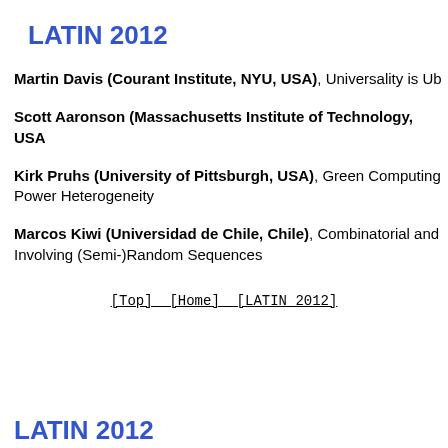LATIN 2012
Martin Davis (Courant Institute, NYU, USA), Universality is Ub…
Scott Aaronson (Massachusetts Institute of Technology, USA…
Kirk Pruhs (University of Pittsburgh, USA), Green Computing… Power Heterogeneity
Marcos Kiwi (Universidad de Chile, Chile), Combinatorial and… Involving (Semi-)Random Sequences
[Top] [Home] [LATIN 2012]
LATIN 2012